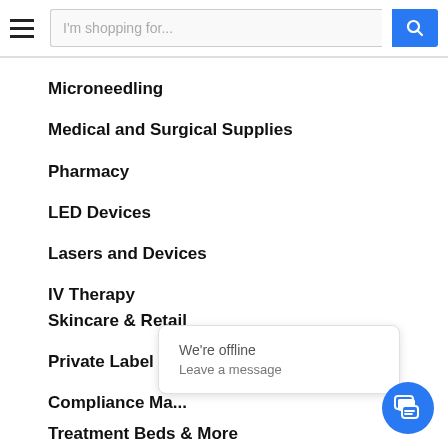[Figure (screenshot): Website header with hamburger menu icon and search bar with blue search button]
Microneedling
Medical and Surgical Supplies
Pharmacy
LED Devices
Lasers and Devices
IV Therapy
Skincare & Retail
Private Label Skincare
Compliance Ma...
Treatment Beds & More
We're offline
Leave a message